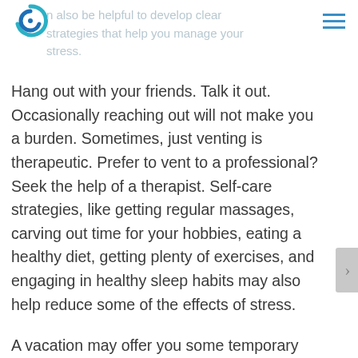[logo] [navigation menu]
environment.
it can also be helpful to develop clear strategies that help you manage your stress.
Hang out with your friends. Talk it out. Occasionally reaching out will not make you a burden. Sometimes, just venting is therapeutic. Prefer to vent to a professional? Seek the help of a therapist. Self-care strategies, like getting regular massages, carving out time for your hobbies, eating a healthy diet, getting plenty of exercises, and engaging in healthy sleep habits may also help reduce some of the effects of stress.
A vacation may offer you some temporary relief too, but a week away from reality won't be enough to help you beat burnout. Regularly